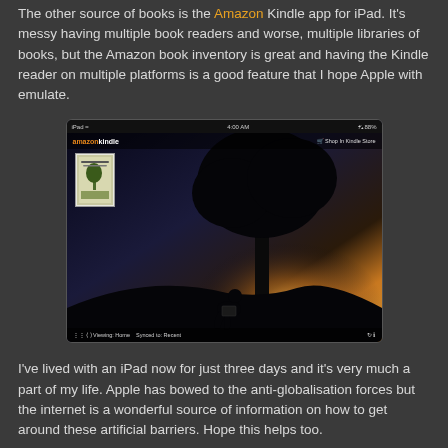The other source of books is the Amazon Kindle app for iPad. It's messy having multiple book readers and worse, multiple libraries of books, but the Amazon book inventory is great and having the Kindle reader on multiple platforms is a good feature that I hope Apple with emulate.
[Figure (screenshot): Screenshot of the Amazon Kindle app on iPad showing a silhouette of a person reading under a tree against a sunset sky background, with a book cover thumbnail in the top-left corner and the amazonkindle logo in the header.]
I've lived with an iPad now for just three days and it's very much a part of my life. Apple has bowed to the anti-globalisation forces but the internet is a wonderful source of information on how to get around these artificial barriers. Hope this helps too.